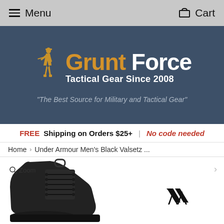Menu   Cart
[Figure (logo): Grunt Force logo with soldier silhouette, orange 'Grunt' and white 'Force' text, subtitle 'Tactical Gear Since 2008']
"The Best Source for Military and Tactical Gear"
FREE Shipping on Orders $25+   No code needed
Home > Under Armour Men's Black Valsetz ...
[Figure (photo): Black Under Armour tactical boot (Valsetz), close-up view from the side, with Under Armour logo visible on the right side of the image area]